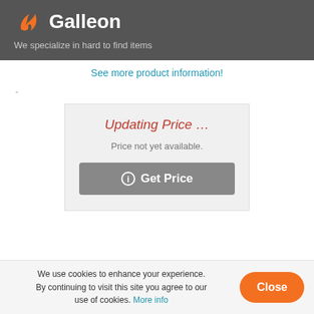[Figure (logo): Galleon logo with orange flame-like swirl icon and white bold text 'Galleon' on dark gray background]
We specialize in hard to find items
See more product information!
-
Updating Price …
Price not yet available.
ⓘ Get Price
We use cookies to enhance your experience. By continuing to visit this site you agree to our use of cookies. More info
Close